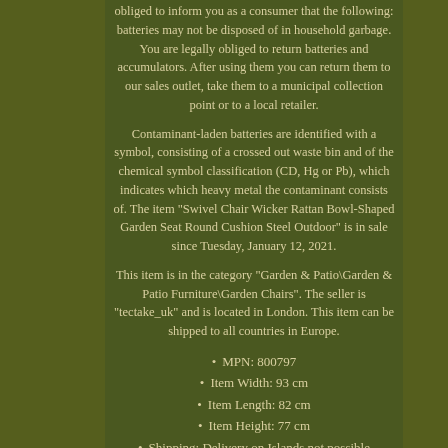obliged to inform you as a consumer that the following: batteries may not be disposed of in household garbage. You are legally obliged to return batteries and accumulators. After using them you can return them to our sales outlet, take them to a municipal collection point or to a local retailer.
Contaminant-laden batteries are identified with a symbol, consisting of a crossed out waste bin and of the chemical symbol classification (CD, Hg or Pb), which indicates which heavy metal the contaminant consists of. The item "Swivel Chair Wicker Rattan Bowl-Shaped Garden Seat Round Cushion Steel Outdoor" is in sale since Tuesday, January 12, 2021.
This item is in the category "Garden & Patio\Garden & Patio Furniture\Garden Chairs". The seller is "tectake_uk" and is located in London. This item can be shipped to all countries in Europe.
MPN: 800797
Item Width: 93 cm
Item Length: 82 cm
Item Height: 77 cm
Shipping: Delivery on Islands not possible
Material: Rattan
Brand: tectake
Set Includes: Cushion